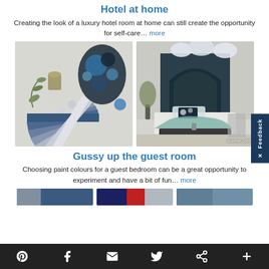Hotel at home
Creating the look of a luxury hotel room at home can still create the opportunity for self-care… more
[Figure (photo): Two photos side by side: left shows a mood board with blue and grey paint swatches, floral fabric and decorative items; right shows a styled bedroom with dark arched headboard, white bedding, teal accents and paper lanterns.]
Gussy up the guest room
Choosing paint colours for a guest bedroom can be a great opportunity to experiment and have a bit of fun… more
[Figure (photo): Row of three partially visible images of room/decor colour combinations at the bottom of the page.]
Social media icons: Pinterest, Facebook, Email, Twitter, Share, Plus